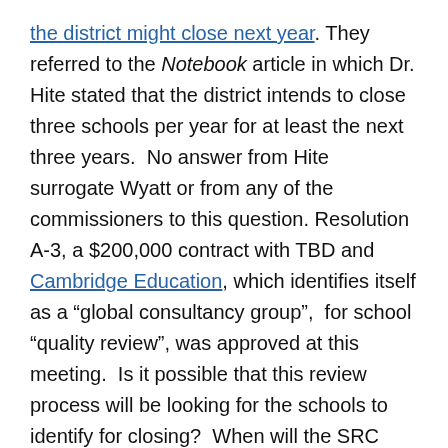the district might close next year. They referred to the Notebook article in which Dr. Hite stated that the district intends to close three schools per year for at least the next three years.  No answer from Hite surrogate Wyatt or from any of the commissioners to this question. Resolution A-3, a $200,000 contract with TBD and Cambridge Education, which identifies itself as a "global consultancy group",  for school "quality review", was approved at this meeting.  Is it possible that this review process will be looking for the schools to identify for closing?  When will the SRC release the results of this report?
Big Bucks for Big Lawyers